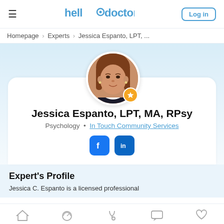hellodoctor | Log in
Homepage > Experts > Jessica Espanto, LPT, ...
[Figure (photo): Professional headshot of Jessica Espanto, a woman with auburn hair, smiling, wearing a dark blazer, displayed in a circular avatar frame with a gold star badge.]
Jessica Espanto, LPT, MA, RPsy
Psychology · In Touch Community Services
[Figure (logo): Facebook and LinkedIn social media icon buttons in blue square rounded icons.]
Expert's Profile
Jessica C. Espanto is a licensed professional